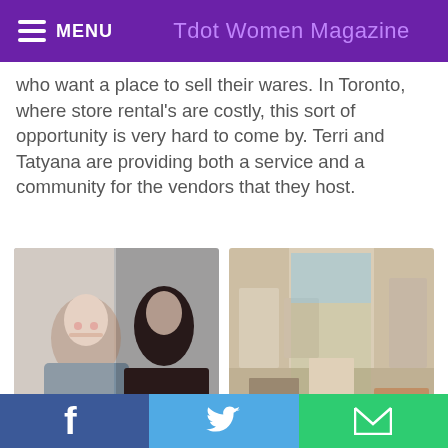MENU  Tdot Women Magazine
who want a place to sell their wares. In Toronto, where store rental's are costly, this sort of opportunity is very hard to come by. Terri and Tatyana are providing both a service and a community for the vendors that they host.
[Figure (photo): Photo of Terri & Tatyana Passaretti, two women posing together]
[Figure (photo): Inside the Shop — interior of a retail shop filled with various goods and merchandise]
“It was partially a decision of practicality to open it
f  (Twitter bird icon)  (Email icon)